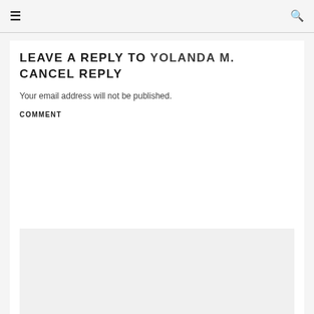☰  🔍
LEAVE A REPLY TO YOLANDA M. CANCEL REPLY
Your email address will not be published.
COMMENT